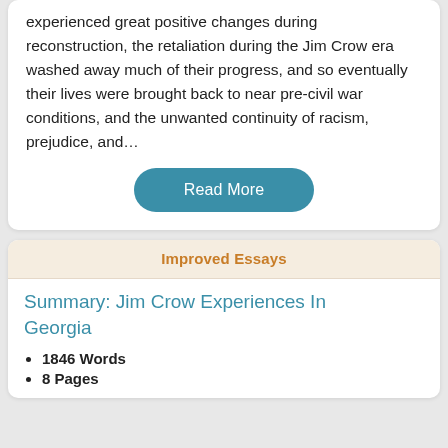experienced great positive changes during reconstruction, the retaliation during the Jim Crow era washed away much of their progress, and so eventually their lives were brought back to near pre-civil war conditions, and the unwanted continuity of racism, prejudice, and…
Read More
Improved Essays
Summary: Jim Crow Experiences In Georgia
1846 Words
8 Pages